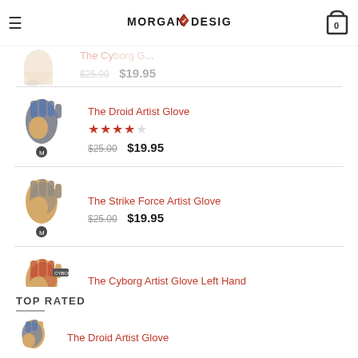Morgan Designs logo, hamburger menu, cart icon
[Figure (photo): Partial product image of a glove (faded/overlay)]
The Cyborg ... (partial, faded)
$25.00  $19.95 (faded)
[Figure (photo): The Droid Artist Glove product image showing blue/tan glove]
The Droid Artist Glove
Rating: 4 out of 5 stars
$25.00  $19.95
[Figure (photo): The Strike Force Artist Glove product image showing tan/gray glove]
The Strike Force Artist Glove
$25.00  $19.95
[Figure (photo): The Cyborg Artist Glove Left Hand product image]
The Cyborg Artist Glove Left Hand
$25.00  $19.95
TOP RATED
[Figure (photo): The Droid Artist Glove product image (partial at bottom)]
The Droid Artist Glove